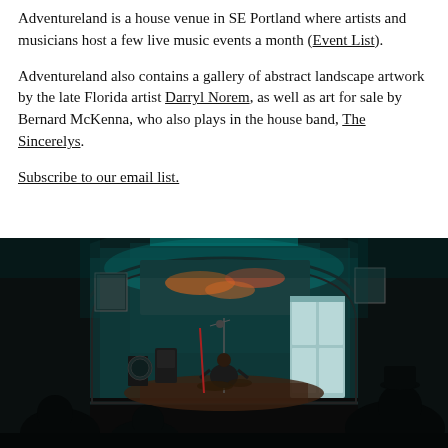Adventureland is a house venue in SE Portland where artists and musicians host a few live music events a month (Event List).
Adventureland also contains a gallery of abstract landscape artwork by the late Florida artist Darryl Norem, as well as art for sale by Bernard McKenna, who also plays in the house band, The Sincerelys.
Subscribe to our email list.
[Figure (photo): A dimly lit house venue interior showing a musician performing on a small stage with teal/cyan lighting on the back wall. Artwork hangs on the walls including what appears to be a mural. Audience members are visible in the foreground in silhouette. A French door is visible to the right of the stage.]